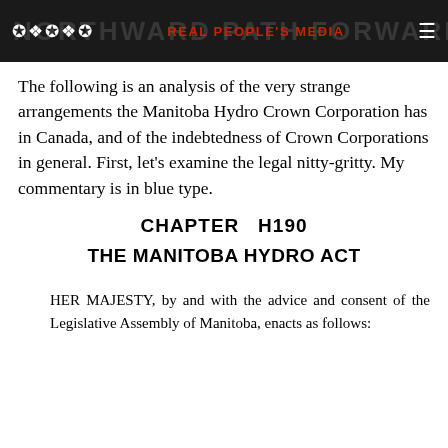REAL PEOPLE'S MEDIA
The following is an analysis of the very strange arrangements the Manitoba Hydro Crown Corporation has in Canada, and of the indebtedness of Crown Corporations in general. First, let’s examine the legal nitty-gritty. My commentary is in blue type.
CHAPTER H190
THE MANITOBA HYDRO ACT
HER MAJESTY, by and with the advice and consent of the Legislative Assembly of Manitoba, enacts as follows: